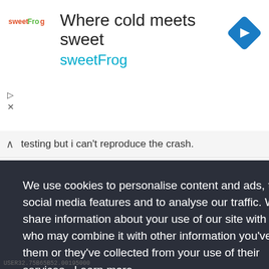[Figure (screenshot): SweetFrog advertisement banner with logo, headline 'Where cold meets sweet', brand name 'sweetFrog', and a blue diamond navigation icon]
testing but i can't reproduce the crash.
We use cookies to personalise content and ads, to provide social media features and to analyse our traffic. We also share information about your use of our site with our partners who may combine it with other information you've provided to them or they've collected from your use of their services. Learn more
Got it!
USER32.75B65B52.00195000